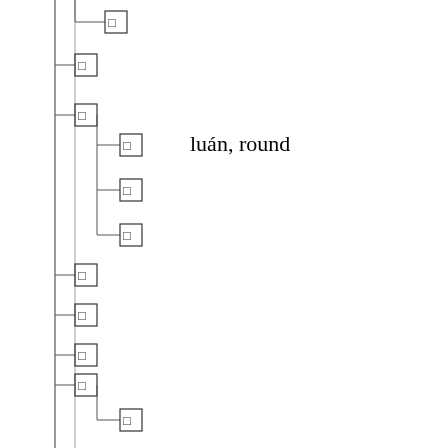[Figure (other): A hierarchical tree diagram with Chinese character nodes (shown as small squares/boxes with indeterminate characters) connected by horizontal and vertical lines. One node at approximately 1/3 from top is labeled 'luán, round' in English. The tree has a vertical trunk line on the left with many branching nodes at various indentation levels.]